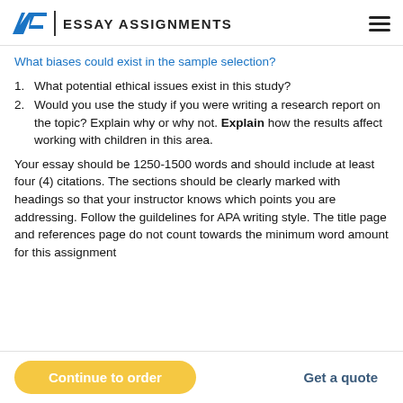EA | ESSAY ASSIGNMENTS
What biases could exist in the sample selection?
1. What potential ethical issues exist in this study?
2. Would you use the study if you were writing a research report on the topic? Explain why or why not. Explain how the results affect working with children in this area.
Your essay should be 1250-1500 words and should include at least four (4) citations. The sections should be clearly marked with headings so that your instructor knows which points you are addressing. Follow the guildelines for APA writing style. The title page and references page do not count towards the minimum word amount for this assignment
Continue to order
Get a quote